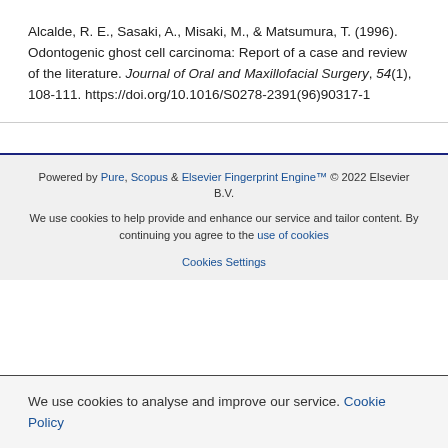Alcalde, R. E., Sasaki, A., Misaki, M., & Matsumura, T. (1996). Odontogenic ghost cell carcinoma: Report of a case and review of the literature. Journal of Oral and Maxillofacial Surgery, 54(1), 108-111. https://doi.org/10.1016/S0278-2391(96)90317-1
Powered by Pure, Scopus & Elsevier Fingerprint Engine™ © 2022 Elsevier B.V.
We use cookies to help provide and enhance our service and tailor content. By continuing you agree to the use of cookies
Cookies Settings
We use cookies to analyse and improve our service. Cookie Policy